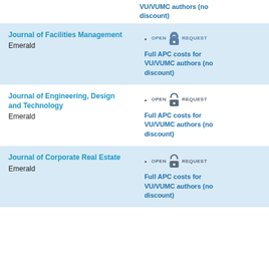VU/VUMC authors (no discount)
Journal of Facilities Management
Emerald
Full APC costs for VU/VUMC authors (no discount)
Journal of Engineering, Design and Technology
Emerald
Full APC costs for VU/VUMC authors (no discount)
Journal of Corporate Real Estate
Emerald
Full APC costs for VU/VUMC authors (no discount)